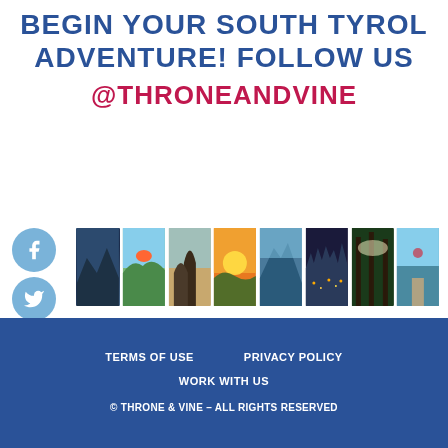BEGIN YOUR SOUTH TYROL ADVENTURE! FOLLOW US @THRONEANDVINE
[Figure (photo): Row of 8 travel/nature thumbnail photos in a horizontal strip]
[Figure (infographic): Four social media icon buttons: Facebook, Instagram, Twitter, Pinterest]
TERMS OF USE   PRIVACY POLICY   WORK WITH US   © THRONE & VINE – ALL RIGHTS RESERVED